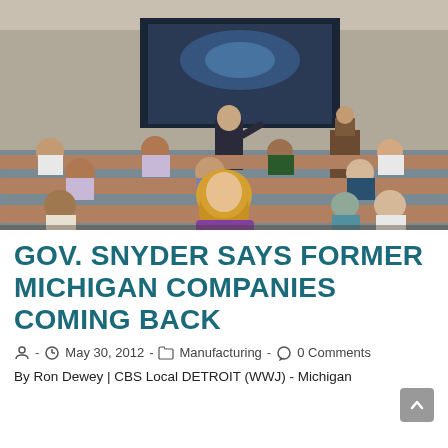[Figure (photo): A person in a dark suit stands at the front of a classroom-style conference room, gesturing while presenting. A large screen displays a presentation. Attendees sit at tiered rows of desks facing the presenter. A woman with long blonde hair in a purple top is visible from behind in the foreground.]
GOV. SNYDER SAYS FORMER MICHIGAN COMPANIES COMING BACK
- May 30, 2012 - Manufacturing - 0 Comments
By Ron Dewey | CBS Local DETROIT (WWJ) - Michigan